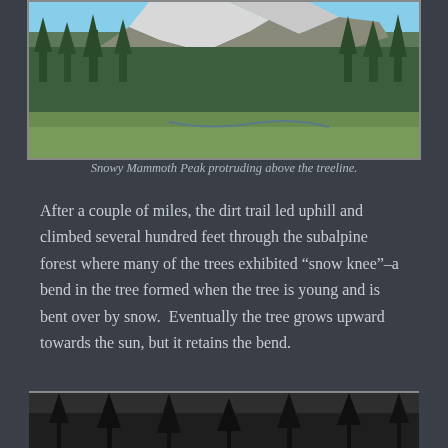[Figure (photo): Panoramic photograph of Mammoth Peak with snow on rocky summit, dark green subalpine forest of tall conifers in middle ground, and green meadow in foreground.]
Snowy Mammoth Peak protruding above the treeline.
After a couple of miles, the dirt trail led uphill and climbed several hundred feet through the subalpine forest where many of the trees exhibited “snow knee”–a bend in the tree formed when the tree is young and is bent over by snow.  Eventually the tree grows upward towards the sun, but it retains the bend.
[Figure (photo): Dark forest photograph, partially visible at bottom of page, showing trees in low light conditions.]